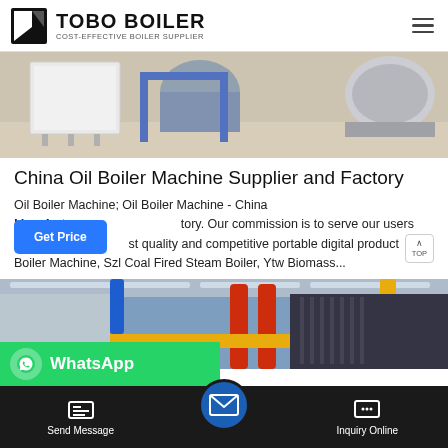TOBO BOILER — COST-EFFECTIVE BOILER SUPPLIER
[Figure (photo): Industrial boiler equipment in a factory/showroom setting, showing white rectangular machinery units on a light floor with blue and industrial machinery in the background]
China Oil Boiler Machine Supplier and Factory
Oil Boiler Machine; Oil Boiler Machine - China Manufacturers, Factory. Our commission is to serve our users and best quality and competitive portable digital products. Oil Boiler Machine, Szl Coal Fired Steam Boiler, Ytw Biomass...
[Figure (photo): Industrial boiler/piping facility interior showing colorful pipes (red, yellow, blue) in a large industrial space]
Send Message | Inquiry Online